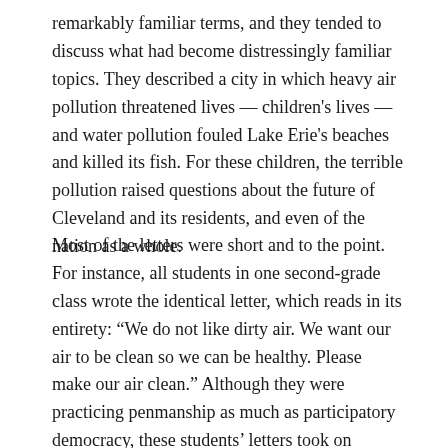remarkably familiar terms, and they tended to discuss what had become distressingly familiar topics. They described a city in which heavy air pollution threatened lives — children's lives — and water pollution fouled Lake Erie's beaches and killed its fish. For these children, the terrible pollution raised questions about the future of Cleveland and its residents, and even of the nation as a whole.
Most of the letters were short and to the point. For instance, all students in one second-grade class wrote the identical letter, which reads in its entirety: “We do not like dirty air. We want our air to be clean so we can be healthy. Please make our air clean.” Although they were practicing penmanship as much as participatory democracy, these students’ letters took on special meaning because they came from the Hodge School, on the East Side, just four blocks